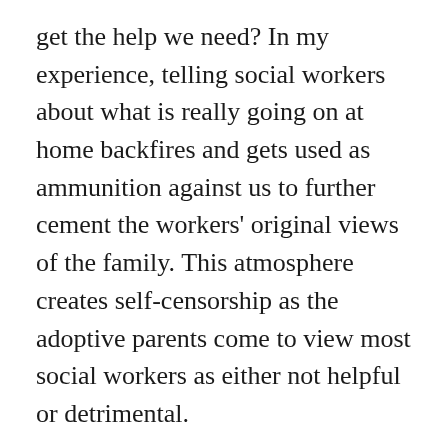get the help we need? In my experience, telling social workers about what is really going on at home backfires and gets used as ammunition against us to further cement the workers' original views of the family. This atmosphere creates self-censorship as the adoptive parents come to view most social workers as either not helpful or detrimental.
Hearing the litany of difficult behaviors and situations pouring out of our mouths due to weeks, months or years of pent-up frustration pushes social workers' buttons. You feel bad when we do not describe our problems delicately